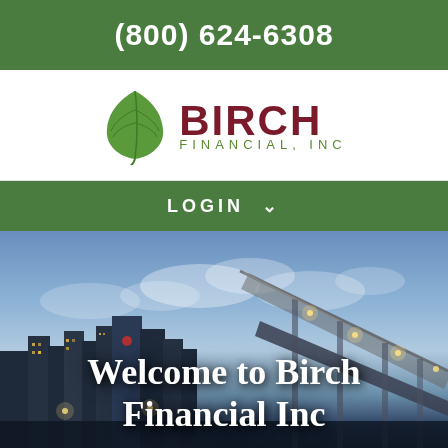(800) 624-6308
[Figure (logo): Birch Financial, Inc logo with green leaf and dark red text]
LOGIN
[Figure (photo): City skyline at dusk with bridge and street lights, overlaid with text 'Welcome to Birch Financial Inc']
Welcome to Birch Financial Inc